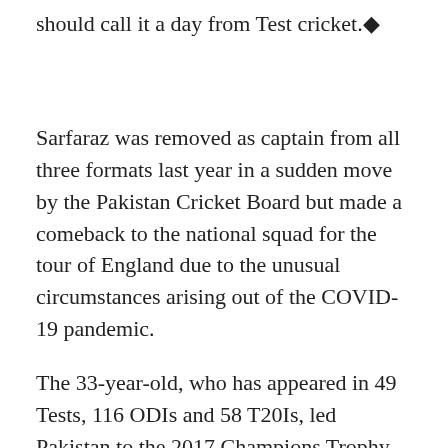should call it a day from Test cricket.
Sarfaraz was removed as captain from all three formats last year in a sudden move by the Pakistan Cricket Board but made a comeback to the national squad for the tour of England due to the unusual circumstances arising out of the COVID-19 pandemic.
The 33-year-old, who has appeared in 49 Tests, 116 ODIs and 58 T20Is, led Pakistan to the 2017 Champions Trophy title against India.
Under his captaincy Pakistan reached the number one